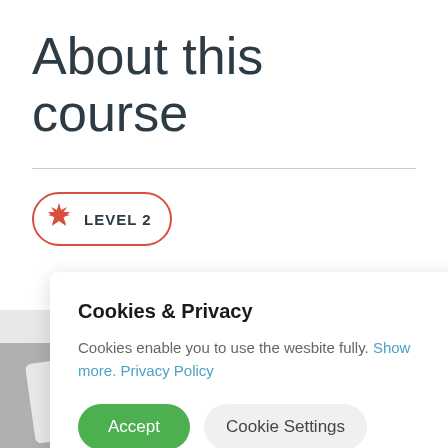About this course
LEVEL 2
Cookies & Privacy
Cookies enable you to use the wesbite fully. Show more. Privacy Policy
Accept
Cookie Settings
[Figure (screenshot): Partial view of card/tile objects at the bottom of the page]